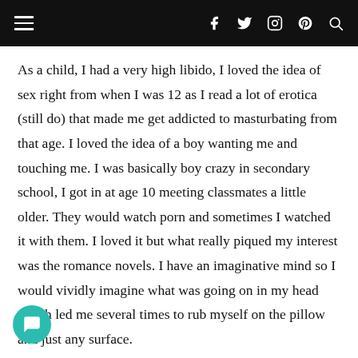Navigation header with hamburger menu and social icons
As a child, I had a very high libido, I loved the idea of sex right from when I was 12 as I read a lot of erotica (still do) that made me get addicted to masturbating from that age. I loved the idea of a boy wanting me and touching me. I was basically boy crazy in secondary school, I got in at age 10 meeting classmates a little older. They would watch porn and sometimes I watched it with them. I loved it but what really piqued my interest was the romance novels. I have an imaginative mind so I would vividly imagine what was going on in my head which led me several times to rub myself on the pillow and just any surface.
By the time I was in SS2 I had my first orgasm in class when my female friends were talking and I became horny and I kept ping my thighs together. I couldn’t scream I just laid my head on the desk and tried to calm down. I didn’t know it was